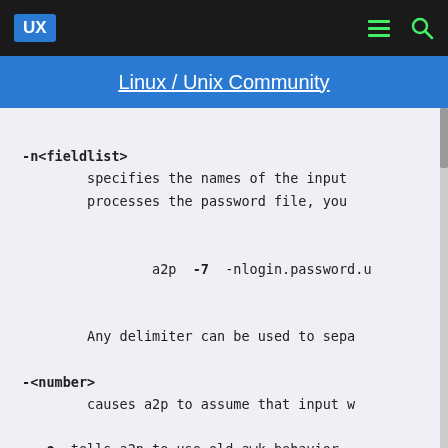UX | Linux / Unix Community
Linux / Unix Community
-n<fieldlist>
        specifies the names of the input
        processes the password file, you

                a2p -7 -nlogin.password.u

        Any delimiter can be used to sepa

-<number>
        causes a2p to assume that input w

-o  tells a2p to use old awk behavior